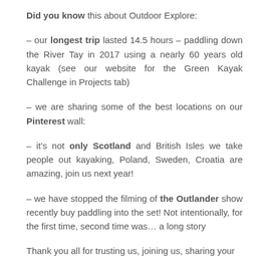Did you know this about Outdoor Explore:
– our longest trip lasted 14.5 hours – paddling down the River Tay in 2017 using a nearly 60 years old kayak (see our website for the Green Kayak Challenge in Projects tab)
– we are sharing some of the best locations on our Pinterest wall:
– it's not only Scotland and British Isles we take people out kayaking, Poland, Sweden, Croatia are amazing, join us next year!
– we have stopped the filming of the Outlander show recently buy paddling into the set! Not intentionally, for the first time, second time was… a long story
Thank you all for trusting us, joining us, sharing your